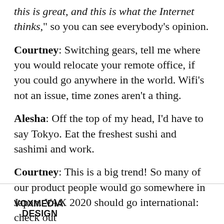this is great, and this is what the Internet thinks,” so you can see everybody’s opinion.
Courtney: Switching gears, tell me where you would relocate your remote office, if you could go anywhere in the world. Wifi’s not an issue, time zones aren’t a thing.
Alesha: Off the top of my head, I’d have to say Tokyo. Eat the freshest sushi and sashimi and work.
Courtney: This is a big trend! So many of our product people would go somewhere in Japan. VAX 2020 should go international: check out
VOXMEDIA DESIGN